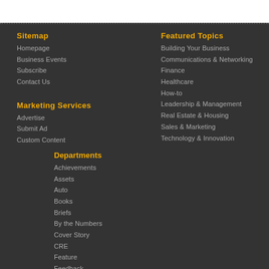Sitemap
Homepage
Business Events
Subscribe
Contact Us
Marketing Services
Advertise
Submit Ad
Custom Content
Departments
Achievements
Assets
Auto
Books
Briefs
By the Numbers
Cover Story
CRE
Feature
Feedback
Featured Topics
Building Your Business
Communications & Networking
Finance
Healthcare
How-to
Leadership & Management
Real Estate & Housing
Sales & Marketing
Technology & Innovation